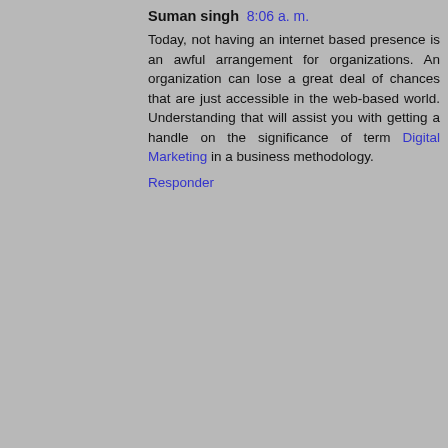Suman singh  8:06 a. m.
Today, not having an internet based presence is an awful arrangement for organizations. An organization can lose a great deal of chances that are just accessible in the web-based world. Understanding that will assist you with getting a handle on the significance of term Digital Marketing in a business methodology.
Responder
Unknown  6:42 a. m.
I beloved as much as you'll receive performed right here. The comic strip is tasteful, your authored subject matter stylish. however, you command get got an edginess over that you want be handing over the following. ill indubitably come more in the past again since precisely the same nearly very continuously within case you defend this increase.
Psychic Reader In Texas,
Get Ex Love Back